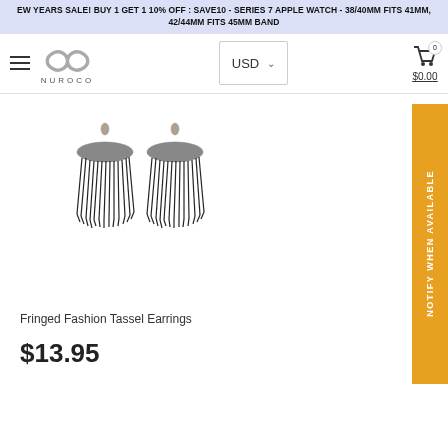EW YEARS SALE! BUY 1 GET 1 10% OFF : SAVE10 - SERIES 7 APPLE WATCH - 38/40MM FITS 41MM, 42/44MM FITS 45MM BAND
[Figure (logo): Nuroco brand logo with infinity symbol and text NUROCO]
USD ▾
0 $0.00
[Figure (photo): Two black fringed tassel earrings with gold/grey metal top disc, on white background]
NOTIFY WHEN AVAILABLE
Fringed Fashion Tassel Earrings
$13.95